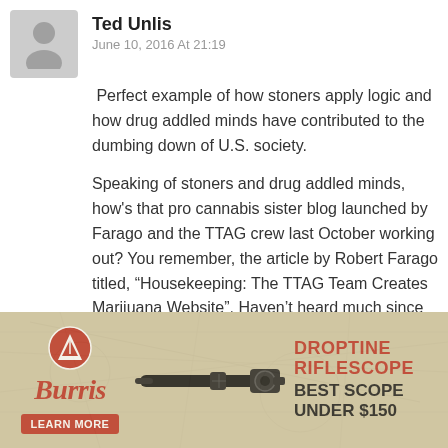Ted Unlis
June 10, 2016 At 21:19
Perfect example of how stoners apply logic and how drug addled minds have contributed to the dumbing down of U.S. society.
Speaking of stoners and drug addled minds, how's that pro cannabis sister blog launched by Farago and the TTAG crew last October working out? You remember, the article by Robert Farago titled, “Housekeeping: The TTAG Team Creates Marijuana Website”. Haven’t heard much since then. Has the firearms industry forgotten about it yet?
Reply
[Figure (infographic): Burris Droptine Riflescope advertisement with red circular mountain logo, script Burris logo, a rifle scope image, and text 'DROPTINE RIFLESCOPE BEST SCOPE UNDER $150' with a Learn More button.]